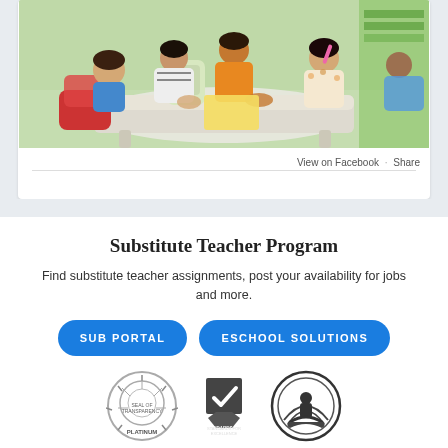[Figure (photo): Children sitting around a small white plastic table with a teacher, doing an activity in a colorful classroom setting.]
View on Facebook · Share
Substitute Teacher Program
Find substitute teacher assignments, post your availability for jobs and more.
SUB PORTAL
ESCHOOL SOLUTIONS
[Figure (logo): Seal of Transparency Platinum badge]
[Figure (logo): Standards for Excellence logo]
[Figure (logo): Circular logo with figure and hands]